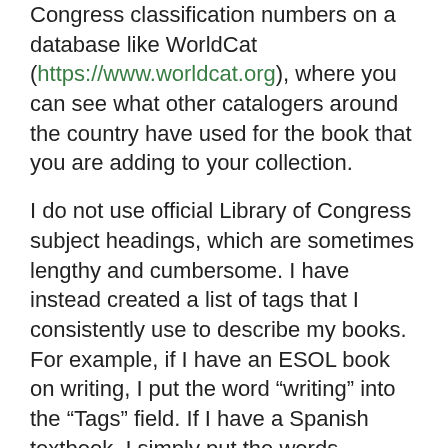Congress classification numbers on a database like WorldCat (https://www.worldcat.org), where you can see what other catalogers around the country have used for the book that you are adding to your collection.
I do not use official Library of Congress subject headings, which are sometimes lengthy and cumbersome.  I have instead created a list of tags that I consistently use to describe my books. For example, if I have an ESOL book on writing, I put the word “writing” into the “Tags” field.  If I have a Spanish textbook, I simply put the words “Spanish language” into the Tags field.  Except for the “Tags” (for subject headings) and sometimes the “LC Classification Number” field, all of the rest is automatically generated by LibraryThing when you enter an ISBN.   If you have a large number of books